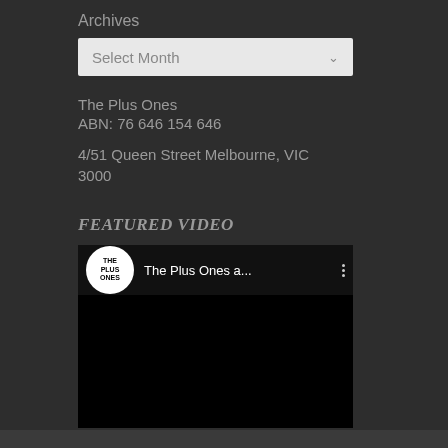Archives
Select Month
The Plus Ones
ABN: 76 646 154 646

4/51 Queen Street Melbourne, VIC 3000
FEATURED VIDEO
[Figure (screenshot): Embedded YouTube video player showing The Plus Ones channel logo (white circle with THE PLUS ONES text) and video title 'The Plus Ones a...' with a three-dot menu icon, video content area is black.]